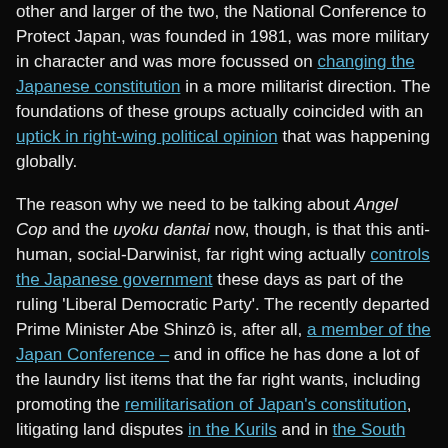other and larger of the two, the National Conference to Protect Japan, was founded in 1981, was more military in character and was more focussed on changing the Japanese constitution in a more militarist direction. The foundations of these groups actually coincided with an uptick in right-wing political opinion that was happening globally.
The reason why we need to be talking about Angel Cop and the uyoku dantai now, though, is that this anti-human, social-Darwinist, far right wing actually controls the Japanese government these days as part of the ruling 'Liberal Democratic Party'. The recently departed Prime Minister Abe Shinzô is, after all, a member of the Japan Conference – and in office he has done a lot of the laundry list items that the far right wants, including promoting the remilitarisation of Japan's constitution, litigating land disputes in the Kurils and in the South China Sea, denying Japanese war crimes, promoting historical revisionism in schools, and criminalising vast swathes of political dissent in the name of anti-terrorism